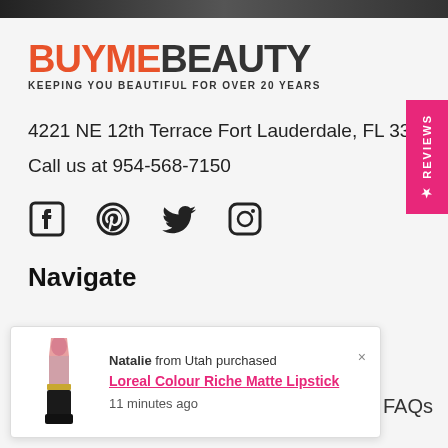[Figure (logo): BuyMeBeauty logo with tagline 'KEEPING YOU BEAUTIFUL FOR OVER 20 YEARS']
4221 NE 12th Terrace Fort Lauderdale, FL 33334
Call us at 954-568-7150
[Figure (illustration): Social media icons: Facebook, Pinterest, Twitter, Instagram]
Navigate
[Figure (screenshot): Popup notification: Natalie from Utah purchased Loreal Colour Riche Matte Lipstick, 11 minutes ago. Shows lipstick product image.]